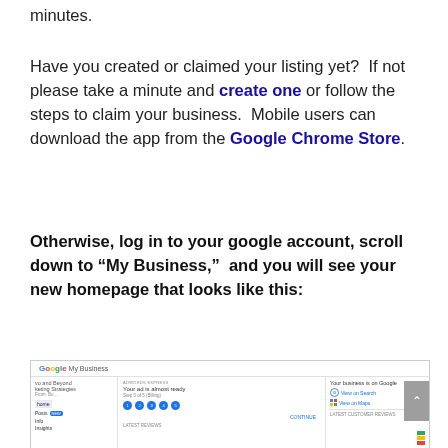minutes.
Have you created or claimed your listing yet?  If not please take a minute and create one or follow the steps to claim your business.  Mobile users can download the app from the Google Chrome Store.
Otherwise, log in to your google account, scroll down to “My Business,”  and you will see your new homepage that looks like this:
[Figure (screenshot): Screenshot of Google My Business dashboard showing AdWords Express panel, business listing confirmation, and latest customer reviews section.]